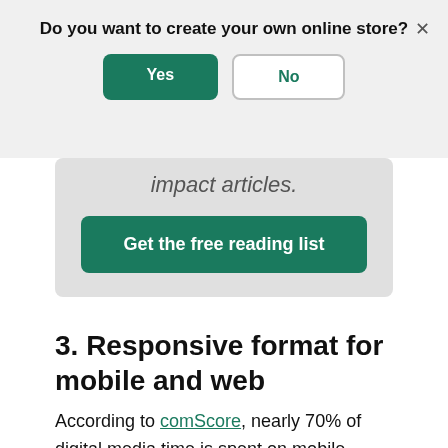Do you want to create your own online store?
[Figure (screenshot): Modal dialog with Yes (green) and No (outline) buttons and a close X button]
impact articles.
[Figure (screenshot): Green button labeled 'Get the free reading list']
3. Responsive format for mobile and web
According to comScore, nearly 70% of digital media time is spent on mobile devices.